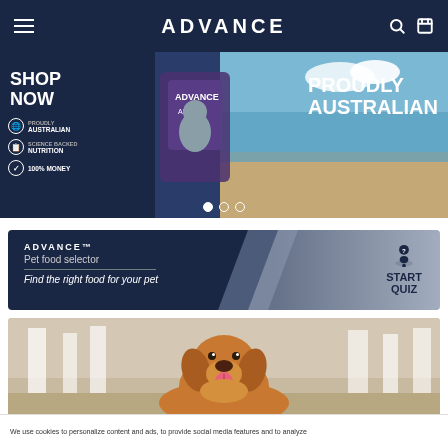ADVANCE
[Figure (screenshot): Hero banner showing ADVANCE pet food bag with beach background and text SHOP NOW, PROUDLY AUSTRALIAN, PROUDLY AUSTRALIAN, with carousel dots]
[Figure (infographic): ADVANCE Pet food selector banner with text: ADVANCE, Pet food selector, Find the right food for your pet, and START QUIZ button with bell icon]
[Figure (photo): Golden retriever dog photo with blurred white posts in background]
We use cookies to personalize content and ads, to provide social media features and to analyze